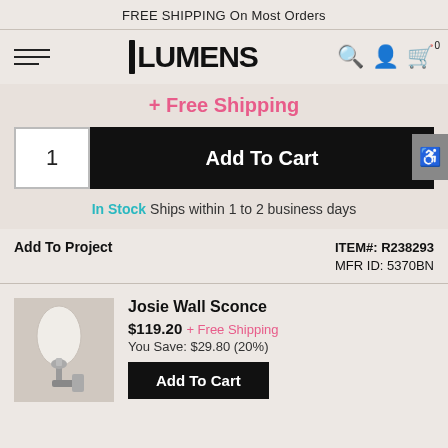FREE SHIPPING On Most Orders
[Figure (logo): Lumens logo with hamburger menu and nav icons]
+ Free Shipping
1  Add To Cart
In Stock Ships within 1 to 2 business days
Add To Project
ITEM#: R238293
MFR ID: 5370BN
[Figure (photo): Josie Wall Sconce product thumbnail showing a wall sconce with brushed nickel finish and white frosted glass shade]
Josie Wall Sconce
$119.20 + Free Shipping
You Save: $29.80 (20%)
Add To Cart